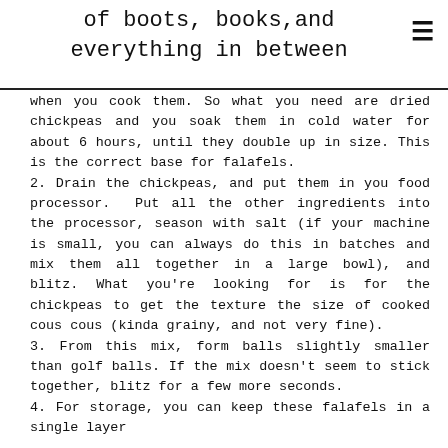of boots, books,and everything in between
when you cook them. So what you need are dried chickpeas and you soak them in cold water for about 6 hours, until they double up in size. This is the correct base for falafels.
2. Drain the chickpeas, and put them in you food processor. Put all the other ingredients into the processor, season with salt (if your machine is small, you can always do this in batches and mix them all together in a large bowl), and blitz. What you're looking for is for the chickpeas to get the texture the size of cooked cous cous (kinda grainy, and not very fine).
3. From this mix, form balls slightly smaller than golf balls. If the mix doesn't seem to stick together, blitz for a few more seconds.
4. For storage, you can keep these falafels in a single layer